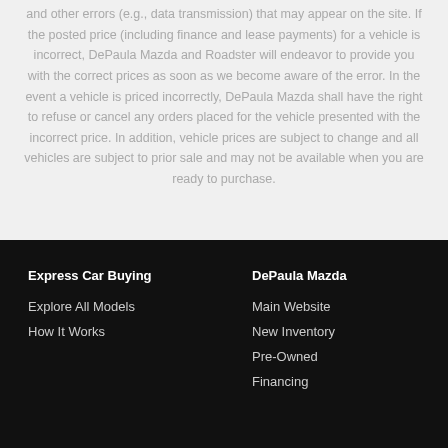and other errors (e.g., data transmission) that may appear on the site. If the posted price (including finance and lease payments) for a vehicle is incorrect, DePaula Mazda and Roadster will endeavor to provide you with the correct prices as soon as we become aware of the error. In the event a vehicle is priced incorrectly, DePaula Mazda shall have the right to refuse or cancel any orders placed for the vehicle presented with the incorrect price. In addition, vehicle prices are subject to change and all vehicles are subject to prior sale and may not be available when you are ready to purchase.
Express Car Buying | Explore All Models | How It Works | DePaula Mazda | Main Website | New Inventory | Pre-Owned | Financing